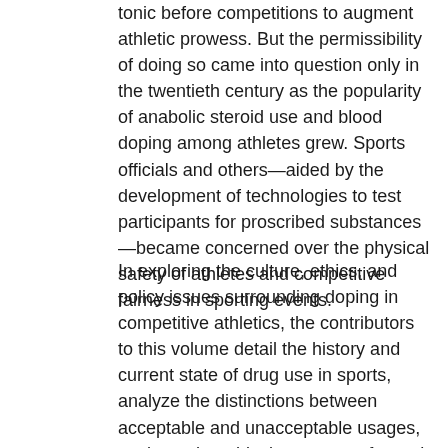tonic before competitions to augment athletic prowess. But the permissibility of doing so came into question only in the twentieth century as the popularity of anabolic steroid use and blood doping among athletes grew. Sports officials and others—aided by the development of technologies to test participants for proscribed substances—became concerned over the physical safety of athletes and competitive fairness in sporting events.
In exploring the culture, ethics, and policy issues surrounding doping in competitive athletics, the contributors to this volume detail the history and current state of drug use in sports, analyze the distinctions between acceptable and unacceptable usages, evaluate the ethical arguments for and against permitting athletes to avail themselves of new means of improving athleticism, and discuss possible future doping technologies and the issues that they are likely to raise. They explain how and why some athletes